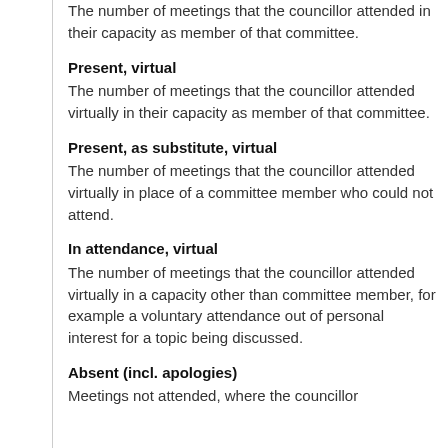The number of meetings that the councillor attended in their capacity as member of that committee.
Present, virtual
The number of meetings that the councillor attended virtually in their capacity as member of that committee.
Present, as substitute, virtual
The number of meetings that the councillor attended virtually in place of a committee member who could not attend.
In attendance, virtual
The number of meetings that the councillor attended virtually in a capacity other than committee member, for example a voluntary attendance out of personal interest for a topic being discussed.
Absent (incl. apologies)
Meetings not attended, where the councillor